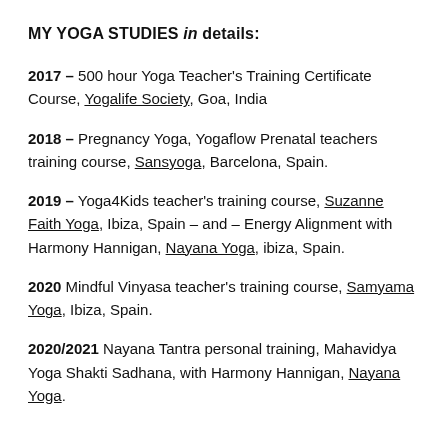MY YOGA STUDIES in details:
2017 – 500 hour Yoga Teacher's Training Certificate Course, Yogalife Society, Goa, India
2018 – Pregnancy Yoga, Yogaflow Prenatal teachers training course, Sansyoga, Barcelona, Spain.
2019 – Yoga4Kids teacher's training course, Suzanne Faith Yoga, Ibiza, Spain – and – Energy Alignment with Harmony Hannigan, Nayana Yoga, ibiza, Spain.
2020 Mindful Vinyasa teacher's training course, Samyama Yoga, Ibiza, Spain.
2020/2021 Nayana Tantra personal training, Mahavidya Yoga Shakti Sadhana, with Harmony Hannigan, Nayana Yoga.